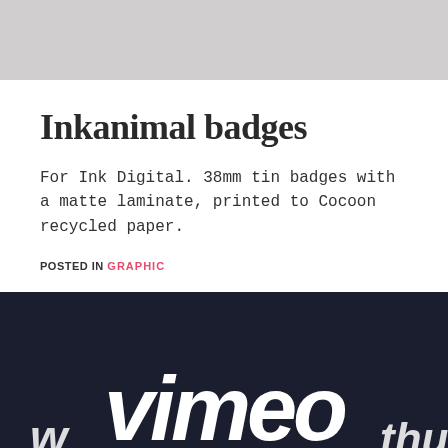[Figure (other): Gray header bar at top of page]
Inkanimal badges
For Ink Digital. 38mm tin badges with a matte laminate, printed to Cocoon recycled paper.
POSTED IN GRAPHIC
[Figure (logo): Vimeo logo in white on dark navy background with partial text 'w...thue' visible]